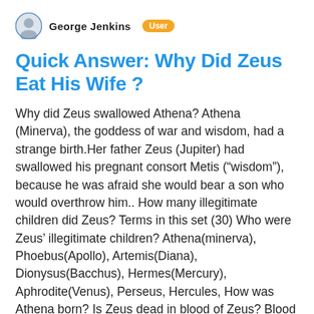George Jenkins  User
Quick Answer: Why Did Zeus Eat His Wife ?
Why did Zeus swallowed Athena? Athena (Minerva), the goddess of war and wisdom, had a strange birth.Her father Zeus (Jupiter) had swallowed his pregnant consort Metis (“wisdom”), because he was afraid she would bear a son who would overthrow him.. How many illegitimate children did Zeus? Terms in this set (30) Who were Zeus’ illegitimate children? Athena(minerva), Phoebus(Apollo), Artemis(Diana), Dionysus(Bacchus), Hermes(Mercury), Aphrodite(Venus), Perseus, Hercules, How was Athena born? Is Zeus dead in blood of Zeus? Blood of Zeus ends with Heron and the rest of the Gods in Mount Olympus in a peaceful place, but very soon they’ll all have